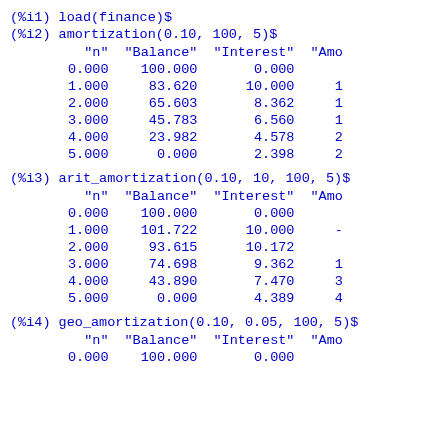(%i1) load(finance)$
(%i2) amortization(0.10, 100, 5)$
| "n" | "Balance" | "Interest" | "Amo |
| --- | --- | --- | --- |
| 0.000 | 100.000 | 0.000 |  |
| 1.000 | 83.620 | 10.000 | 1 |
| 2.000 | 65.603 | 8.362 | 1 |
| 3.000 | 45.783 | 6.560 | 1 |
| 4.000 | 23.982 | 4.578 | 2 |
| 5.000 | 0.000 | 2.398 | 2 |
(%i3) arit_amortization(0.10, 10, 100, 5)$
| "n" | "Balance" | "Interest" | "Amo |
| --- | --- | --- | --- |
| 0.000 | 100.000 | 0.000 |  |
| 1.000 | 101.722 | 10.000 | - |
| 2.000 | 93.615 | 10.172 |  |
| 3.000 | 74.698 | 9.362 | 1 |
| 4.000 | 43.890 | 7.470 | 3 |
| 5.000 | 0.000 | 4.389 | 4 |
(%i4) geo_amortization(0.10, 0.05, 100, 5)$
| "n" | "Balance" | "Interest" | "Amo |
| --- | --- | --- | --- |
| 0.000 | 100.000 | 0.000 |  |